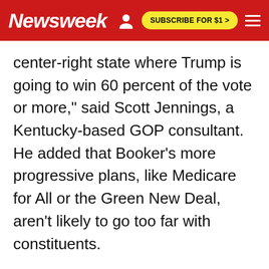Newsweek — SUBSCRIBE FOR $1 >
center-right state where Trump is going to win 60 percent of the vote or more," said Scott Jennings, a Kentucky-based GOP consultant. He added that Booker's more progressive plans, like Medicare for All or the Green New Deal, aren't likely to go too far with constituents.
"Booker's clearly more talented than McGrath, but he would ultimately be selling an agenda far out of step in Kentucky in a general election," Jennings said.